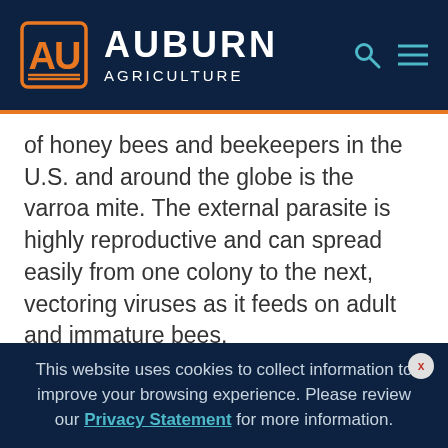Auburn Agriculture
of honey bees and beekeepers in the U.S. and around the globe is the varroa mite. The external parasite is highly reproductive and can spread easily from one colony to the next, vectoring viruses as it feeds on adult and immature bees.
Bill Evans, a veteran backyard beekeeper in central Alabama, said management is key to preventing the devastating parasites.
This website uses cookies to collect information to improve your browsing experience. Please review our Privacy Statement for more information.